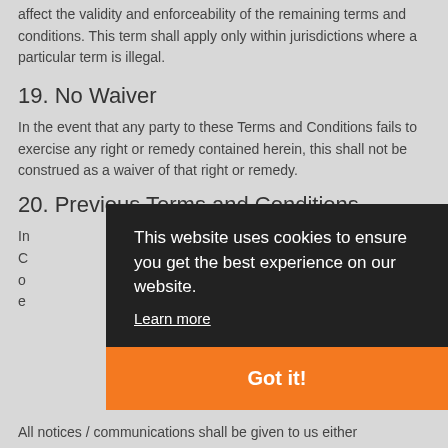affect the validity and enforceability of the remaining terms and conditions. This term shall apply only within jurisdictions where a particular term is illegal.
19. No Waiver
In the event that any party to these Terms and Conditions fails to exercise any right or remedy contained herein, this shall not be construed as a waiver of that right or remedy.
20. Previous Terms and Conditions
In... Conditions... of... e...
[Figure (screenshot): Cookie consent banner overlay with dark background. Text reads: 'This website uses cookies to ensure you get the best experience on our website. Learn more' and an orange 'Got it!' button.]
All notices / communications shall be given to us either